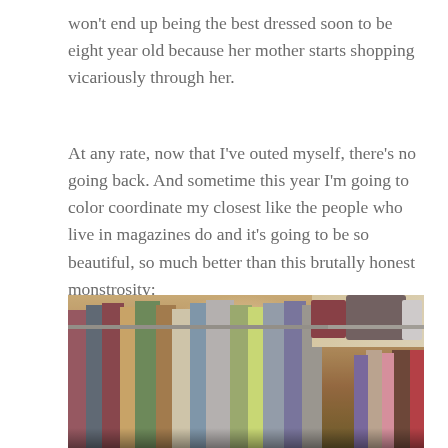won't end up being the best dressed soon to be eight year old because her mother starts shopping vicariously through her.
At any rate, now that I've outed myself, there's no going back. And sometime this year I'm going to color coordinate my closest like the people who live in magazines do and it's going to be so beautiful, so much better than this brutally honest monstrosity:
[Figure (photo): A cluttered closet with many colorful clothes hanging densely on racks, with piles of folded items and additional clothing on shelves in the background.]